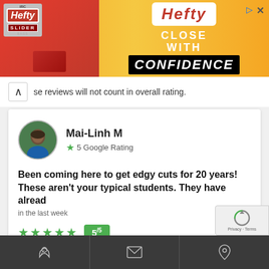[Figure (screenshot): Hefty Slider Bags advertisement banner with red and yellow/orange background. Left side shows product image, right side shows 'Hefty CLOSE WITH CONFIDENCE' text.]
se reviews will not count in overall rating.
Mai-Linh M
5 Google Rating
Been coming here to get edgy cuts for 20 years! These aren't your typical students. They have alread
in the last week
5/5
Been coming here to get edgy cuts for 20 years! These aren't your typical students. They have already graduated from cosmetology school and are at this school to learn The Sassoon Way so I feel the cuts are much better. Plus you